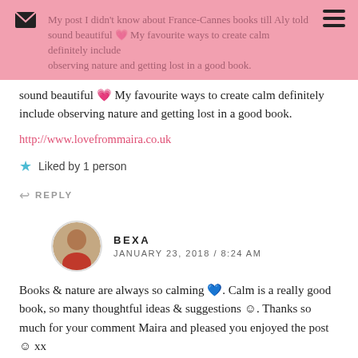My post I didn't know about France-Cannes books till Aly told sound beautiful My favourite ways to create calm definitely include observing nature and getting lost in a good book.
sound beautiful 💗 My favourite ways to create calm definitely include observing nature and getting lost in a good book.
http://www.lovefrommaira.co.uk
Liked by 1 person
REPLY
BEXA
JANUARY 23, 2018 / 8:24 AM
Books & nature are always so calming 💙. Calm is a really good book, so many thoughtful ideas & suggestions ☺. Thanks so much for your comment Maira and pleased you enjoyed the post ☺ xx
Like